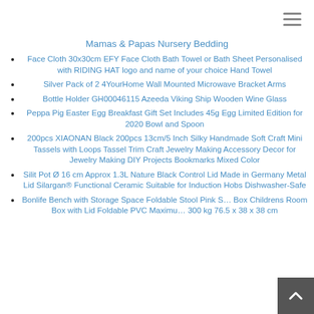Mamas & Papas Nursery Bedding
Face Cloth 30x30cm EFY Face Cloth Bath Towel or Bath Sheet Personalised with RIDING HAT logo and name of your choice Hand Towel
Silver Pack of 2 4YourHome Wall Mounted Microwave Bracket Arms
Bottle Holder GH00046115 Azeeda Viking Ship Wooden Wine Glass
Peppa Pig Easter Egg Breakfast Gift Set Includes 45g Egg Limited Edition for 2020 Bowl and Spoon
200pcs XIAONAN Black 200pcs 13cm/5 Inch Silky Handmade Soft Craft Mini Tassels with Loops Tassel Trim Craft Jewelry Making Accessory Decor for Jewelry Making DIY Projects Bookmarks Mixed Color
Silit Pot Ø 16 cm Approx 1.3L Nature Black Control Lid Made in Germany Metal Lid Silargan® Functional Ceramic Suitable for Induction Hobs Dishwasher-Safe
Bonlife Bench with Storage Space Foldable Stool Pink S… Box Childrens Room Box with Lid Foldable PVC Maximu… 300 kg 76.5 x 38 x 38 cm